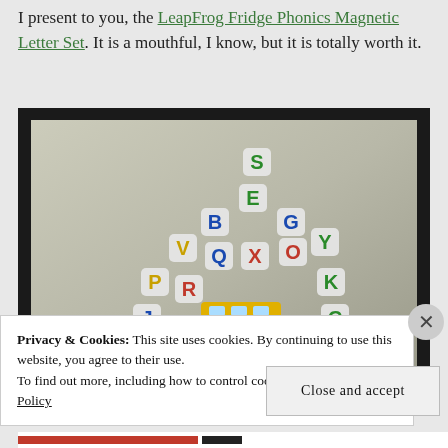I present to you, the LeapFrog Fridge Phonics Magnetic Letter Set. It is a mouthful, I know, but it is totally worth it.
[Figure (photo): Photo of colorful magnetic letter tiles arranged in an arc on a white refrigerator surface, with a yellow school bus LeapFrog device in the center. Letters visible include S, E, B, G, V, Q, X, O, Y, P, R, K, U, J, H, C, N, W and others.]
Privacy & Cookies: This site uses cookies. By continuing to use this website, you agree to their use.
To find out more, including how to control cookies, see here: Cookie Policy
Close and accept